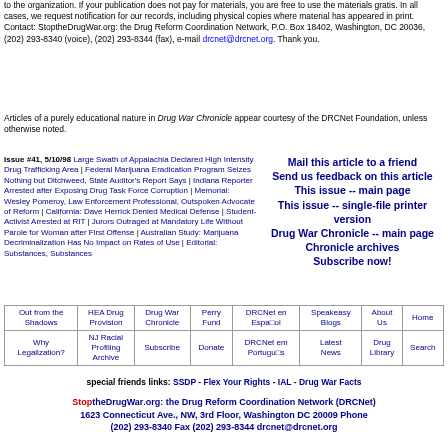to the organization. If your publication does not pay for materials, you are free to use the materials gratis. In all cases, we request notification for our records, including physical copies where material has appeared in print. Contact: StoptheDrugWar.org: the Drug Reform Coordination Network, P.O. Box 18402, Washington, DC 20036, (202) 293-8340 (voice), (202) 293-8344 (fax), e-mail drcnet@drcnet.org. Thank you.
Articles of a purely educational nature in Drug War Chronicle appear courtesy of the DRCNet Foundation, unless otherwise noted.
Issue #41, 5/10/98 [links to articles]
Mail this article to a friend
Send us feedback on this article
This issue -- main page
This issue -- single-file printer version
Drug War Chronicle -- main page
Chronicle archives
Subscribe now!
| Out from the Shadows | HEA Drug Provision | Drug War Chronicle | Perry Fund | DRCNet en Español | Speakeasy Blogs | About Us | Home |
| --- | --- | --- | --- | --- | --- | --- | --- |
| Why Legalization? | NJ Racial Profiling Archive | Subscribe | Donate | DRCNet em Português | Latest News | Drug Library | Search |
special friends links: SSDP - Flex Your Rights - IAL - Drug War Facts
StoptheDrugWar.org: the Drug Reform Coordination Network (DRCNet) 1623 Connecticut Ave., NW, 3rd Floor, Washington DC 20009 Phone (202) 293-8340 Fax (202) 293-8344 drcnet@drcnet.org